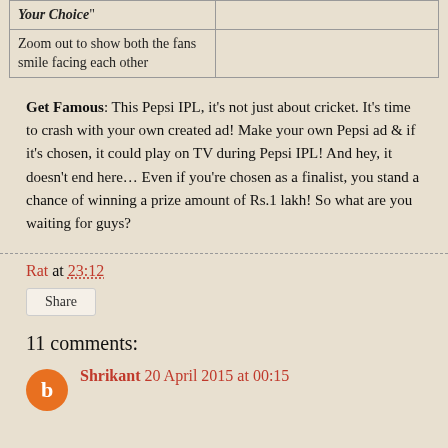| "Your Choice" |  |
| Zoom out to show both the fans smile facing each other |  |
Get Famous: This Pepsi IPL, it’s not just about cricket. It’s time to crash with your own created ad! Make your own Pepsi ad & if it’s chosen, it could play on TV during Pepsi IPL! And hey, it doesn’t end here… Even if you’re chosen as a finalist, you stand a chance of winning a prize amount of Rs.1 lakh! So what are you waiting for guys?
Rat at 23:12
Share
11 comments:
Shrikant 20 April 2015 at 00:15